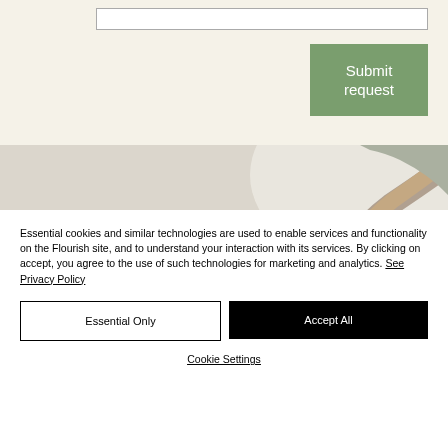[Figure (screenshot): Form area with a text input box and a green 'Submit request' button on a cream/off-white background]
[Figure (photo): Photo of a person lying down receiving a massage or wellness treatment, with a practitioner's arm visible]
Essential cookies and similar technologies are used to enable services and functionality on the Flourish site, and to understand your interaction with its services. By clicking on accept, you agree to the use of such technologies for marketing and analytics. See Privacy Policy
Essential Only
Accept All
Cookie Settings